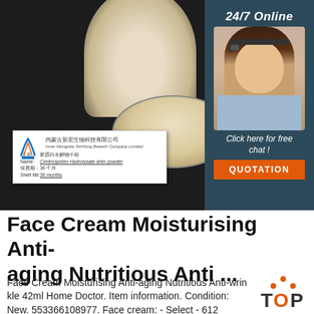[Figure (photo): Product photo showing a dark background with a cream-colored powder in a jar and a petri dish, with a product label card showing Inner Mongolia XinHong Biotech Company Limited, Centrospoten Hydrolysate drier powder, Shelf life 36 months. Overlaid chat panel with 24/7 Online support agent and QUOTATION button.]
Face Cream Moisturising Anti-aging Nutritious Anti ...
Face Cream Moisturising Anti-aging Nutritious Anti-wrinkle 42ml Home Doctor. Item information. Condition: New. 553366108977. Face cream: - Select - 612 Calendula 42ml